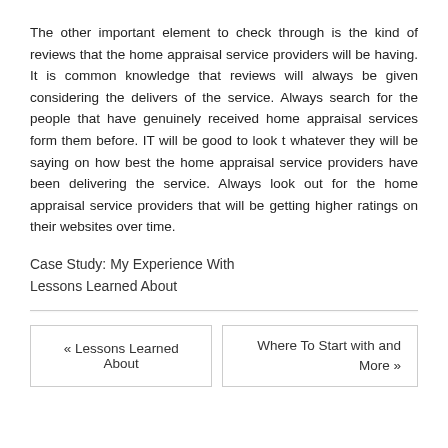The other important element to check through is the kind of reviews that the home appraisal service providers will be having. It is common knowledge that reviews will always be given considering the delivers of the service. Always search for the people that have genuinely received home appraisal services form them before. IT will be good to look t whatever they will be saying on how best the home appraisal service providers have been delivering the service. Always look out for the home appraisal service providers that will be getting higher ratings on their websites over time.
Case Study: My Experience With
Lessons Learned About
« Lessons Learned About
Where To Start with and More »